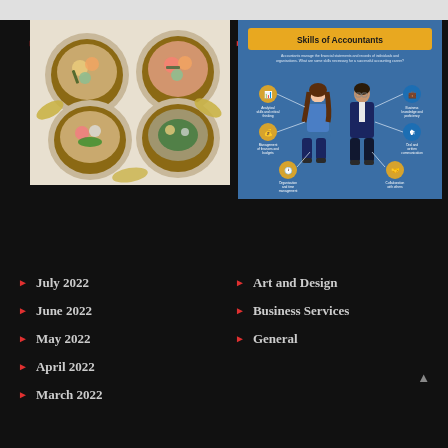[Figure (photo): Four bowls of food (poke bowls or grain bowls) seen from above on a white background]
[Figure (infographic): Skills of Accountants infographic showing two illustrated figures (a woman and a man in business attire) surrounded by skill labels: Analytical skills and critical thinking, Business knowledge and proficiency, Management of finances and budgets, Oral and written communication, Organisational and time management, Collaboration with others]
July 2022
June 2022
May 2022
April 2022
March 2022
Art and Design
Business Services
General